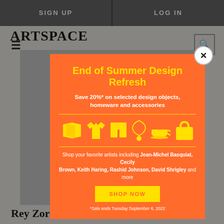SIGN UP | LOG IN
ARTSPACE
[Figure (screenshot): Website screenshot showing Artspace header with navigation and a background image of an exhibition with photographer credit Rey Zorro]
[Figure (infographic): Orange modal popup: End of Summer Design Refresh promotion. Save 20%* on selected design objects, homeware and accessories. Icons of pillow, t-shirt, shorts, necklace, teacup, tote bag. Shop your favorite artists including Jean-Michel Basquiat, Cecily Brown, Keith Haring, Rashid Johnson, David Shrigley and more. SHOP NOW button. *Sale ends Tuesday September 6, 2022.]
Rey Zorro